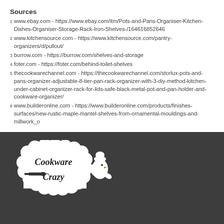Sources
1 www.ebay.com - https://www.ebay.com/itm/Pots-and-Pans-Organiser-Kitchen-Dishes-Organiser-Storage-Rack-Iron-Shelves-/164616852646
2 www.kitchensource.com - https://www.kitchensource.com/pantry-organizers/d/pullout/
3 burrow.com - https://burrow.com/shelves-and-storage
4 foter.com - https://foter.com/behind-toilet-shelves
5 thecookwarechannel.com - https://thecookwarechannel.com/storlux-pots-and-pans-organizer-adjustable-8-tier-pan-rack-organizer-with-3-diy-method-kitchen-under-cabinet-organizer-rack-for-lids-safe-black-metal-pot-and-pan-holder-and-cookware-organizer/
6 www.builderonline.com - https://www.builderonline.com/products/finishes-surfaces/new-rustic-maple-mantel-shelves-from-ornamental-mouldings-and-millwork_o
[Figure (logo): Cookware Crazy logo with scalloped border and chef bird illustration on dark background]
About | Privacy | Archive | COOKWARE |